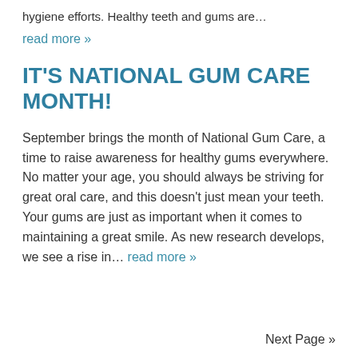hygiene efforts. Healthy teeth and gums are…
read more »
IT'S NATIONAL GUM CARE MONTH!
September brings the month of National Gum Care, a time to raise awareness for healthy gums everywhere. No matter your age, you should always be striving for great oral care, and this doesn't just mean your teeth. Your gums are just as important when it comes to maintaining a great smile. As new research develops, we see a rise in… read more »
Next Page »